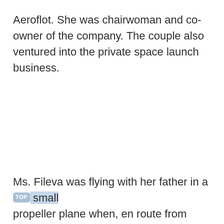Aeroflot. She was chairwoman and co-owner of the company. The couple also ventured into the private space launch business.
Ms. Fileva was flying with her father in a small propeller plane when, en route from Cannes,